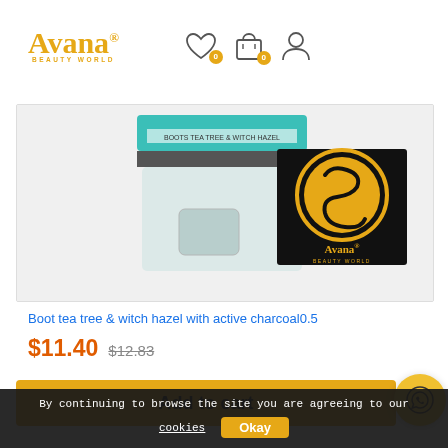Avana BEAUTY WORLD — navigation header with wishlist (0), cart (0), account icons
[Figure (photo): Product image: Boot tea tree & witch hazel with active charcoal container (teal/grey/clear), with Avana Beauty World logo overlay (black square with gold circle logo)]
Boot tea tree & witch hazel with active charcoal0.5
$11.40  $12.83
Add to cart
By continuing to browse the site you are agreeing to our cookies  Okay